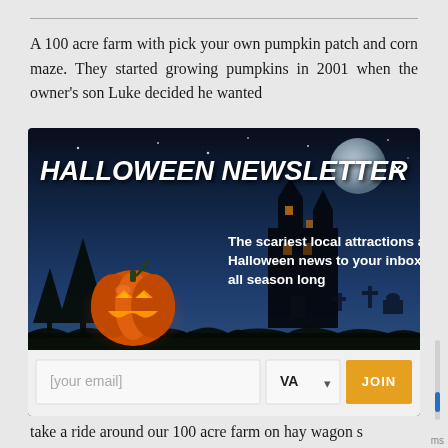A 100 acre farm with pick your own pumpkin patch and corn maze. They started growing pumpkins in 2001 when the owner's son Luke decided he wanted
[Figure (screenshot): Halloween Newsletter popup overlay with dark blue/black night sky background, glowing jack-o-lantern pumpkin on left, spooky silhouette of haunted house and trees. Title reads 'HALLOWEEN NEWSLETTER×'. Text reads 'The scariest local attractions and Halloween news to your inbox all season long'. Contains email input field, VA state dropdown, and orange JOIN button.]
take a ride around our 100 acre farm on hay wagon s where you pick your own pumpkin in the pumpkin patch. We have plenty of fun things for the family such as the Pumpkin Train, Super slides, Hay Maze, Corn Maze, Corn Crib, Petting Zoos, Tire City